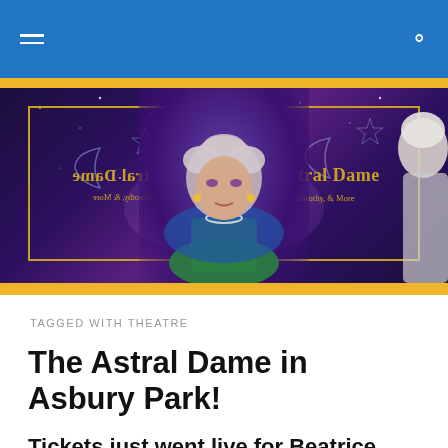Navigation header with hamburger menu and search icon
[Figure (photo): Promotional banner for 'Bea Astral Dame - Maude, Dorothy & More' show featuring a performer in grey wig and theatrical makeup, flanked by two panels with gold borders on a starry purple/blue background. The left panel shows mirrored/reversed text. A partial figure of another person is visible on the right edge.]
TAGGED WITH THEATRE
The Astral Dame in Asbury Park!
Tickets just went live for Beatrice